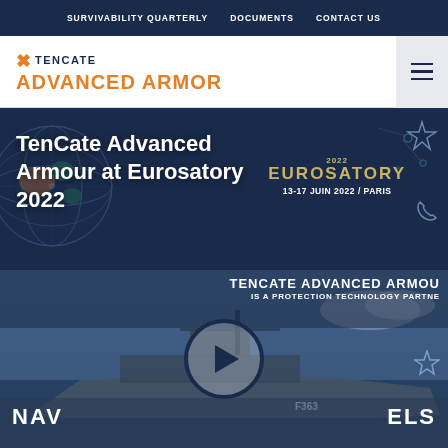SURVIVABILITY QUARTERLY   DOCUMENTS   CONTACT US
[Figure (logo): TenCate Advanced Armor logo with orange X icon and orange ADVANCED ARMOR text]
TenCate Advanced Armour at Eurosatory 2022
[Figure (other): Eurosatory 2022 badge showing: 2022 EUROSATORY 13-17 JUIN 2022 / PARIS]
[Figure (screenshot): Video thumbnail showing a naval vessel (F363) with overlay text: TENCATE ADVANCED ARMOU(R) IS A PROTECTION TECHNOLOGY PARTNE(R) and NAVAL (play button) ELS with play button in center]